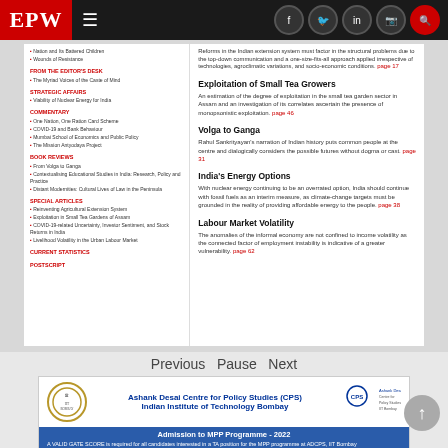EPW — Economic and Political Weekly website header with navigation icons
[Figure (screenshot): EPW magazine table of contents page showing article listings in left column and article previews in right column including: Exploitation of Small Tea Growers, Volga to Ganga, India's Energy Options, Labour Market Volatility]
Previous Pause Next
[Figure (infographic): Ashank Desai Centre for Policy Studies (CPS), Indian Institute of Technology Bombay — Admission to MPP Programme - 2022. A VALID GATE SCORE is required for all candidates interested in a TA position for the MPP programme at ADCPS, IIT Bombay. Part – I: Written Test. All candidates will need to appear for a CPS written test. Part – II: Personal Interview. LIKELY DATE: JUNE 2022.]